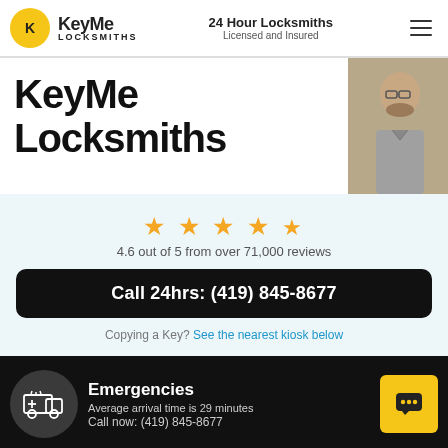KeyMe Locksmiths | 24 Hour Locksmiths Licensed and Insured
KeyMe Locksmiths
[Figure (photo): Photo of a locksmith technician man with glasses working]
4.6 out of 5 from over 71,000 reviews
Call 24hrs: (419) 845-8677
Copying a Key? See the nearest kiosk below
Emergencies
Average arrival time is 29 minutes
Call now: (419) 845-8677